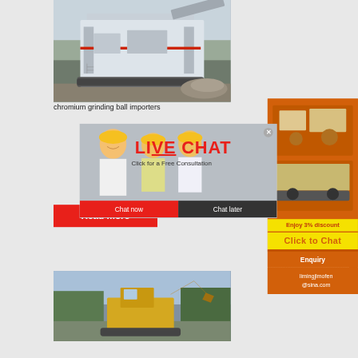[Figure (photo): Mobile crushing/screening machinery on a construction/mining site, large industrial equipment on tracks]
chromium grinding ball importers
[Figure (photo): Live chat overlay showing workers in hard hats with LIVE CHAT heading and Click for a Free Consultation text, with Chat now and Chat later buttons]
[Figure (photo): Excavator machinery at a construction site with trees in background]
[Figure (photo): Right sidebar showing orange panel with crusher/screening machine images, Enjoy 3% discount and Click to Chat buttons, Enquiry section, and email limingjlmofen@sina.com]